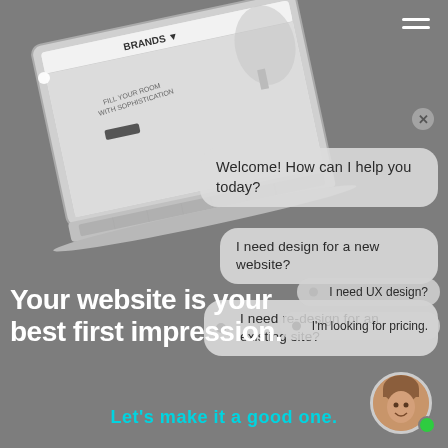[Figure (screenshot): Laptop computer showing a furniture/home decor website with 'BRANDS' navigation and 'FILL YOUR ROOM WITH SOPHISTICATION' hero text overlaid with a chatbot UI showing conversation bubbles]
Welcome! How can I help you today?
I need design for a new website?
I need re-design for an existing site?
I need UX design?
I'm looking for pricing.
Your website is your best first impression.
Let's make it a good one.